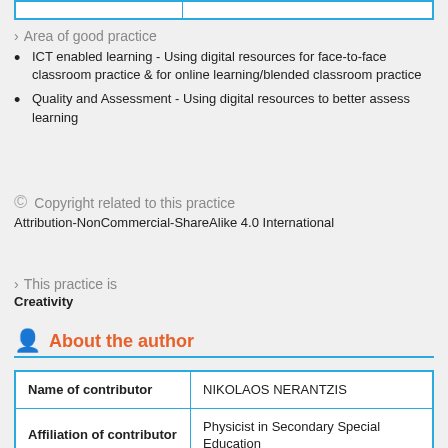Area of good practice
ICT enabled learning - Using digital resources for face-to-face classroom practice & for online learning/blended classroom practice
Quality and Assessment - Using digital resources to better assess learning
Copyright related to this practice
Attribution-NonCommercial-ShareAlike 4.0 International
This practice is
Creativity
About the author
| Name of contributor |  |
| --- | --- |
| Name of contributor | NIKOLAOS NERANTZIS |
| Affiliation of contributor | Physicist in Secondary Special Education |